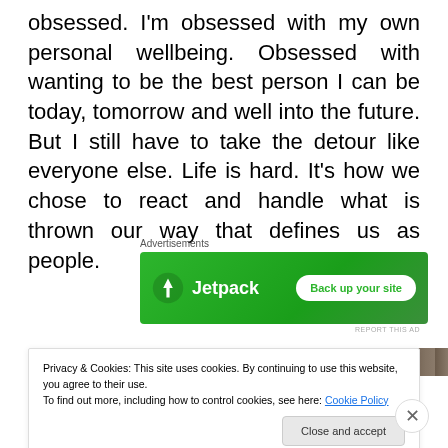obsessed. I'm obsessed with my own personal wellbeing. Obsessed with wanting to be the best person I can be today, tomorrow and well into the future. But I still have to take the detour like everyone else. Life is hard. It's how we chose to react and handle what is thrown our way that defines us as people.
Advertisements
[Figure (other): Jetpack advertisement banner with green background showing Jetpack logo and 'Back up your site' button]
[Figure (photo): Partially visible photo strip behind cookie banner]
Privacy & Cookies: This site uses cookies. By continuing to use this website, you agree to their use.
To find out more, including how to control cookies, see here: Cookie Policy